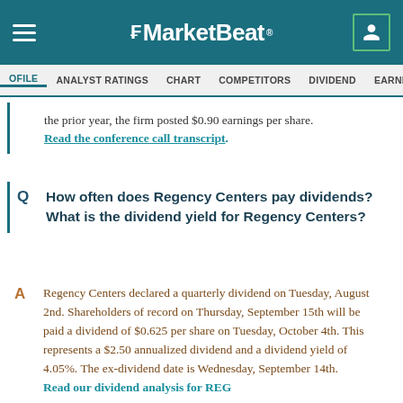MarketBeat
PROFILE  ANALYST RATINGS  CHART  COMPETITORS  DIVIDEND  EARNINGS  F
the prior year, the firm posted $0.90 earnings per share.
Read the conference call transcript.
How often does Regency Centers pay dividends? What is the dividend yield for Regency Centers?
Regency Centers declared a quarterly dividend on Tuesday, August 2nd. Shareholders of record on Thursday, September 15th will be paid a dividend of $0.625 per share on Tuesday, October 4th. This represents a $2.50 annualized dividend and a dividend yield of 4.05%. The ex-dividend date is Wednesday, September 14th.
Read our dividend analysis for REG.